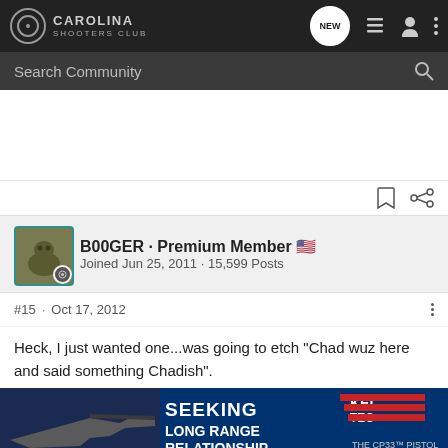Carolina Shooters Club
Search Community
B00GER · Premium Member
Joined Jun 25, 2011 · 15,599 Posts
#15 · Oct 17, 2012
Heck, I just wanted one...was going to etch "Chad wuz here and said something Chadish".
[Figure (screenshot): Kel-Tec CP33 pistol advertisement banner: SEEKING LONG RANGE RELATIONSHIP THE CP33 PISTOL]